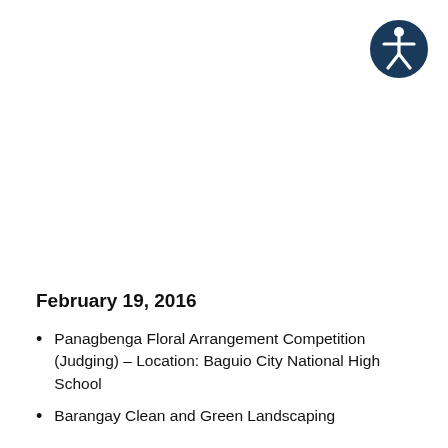[Figure (logo): Accessibility icon: white person figure on dark blue circle background]
February 19, 2016
Panagbenga Floral Arrangement Competition (Judging) – Location: Baguio City National High School
Barangay Clean and Green Landscaping